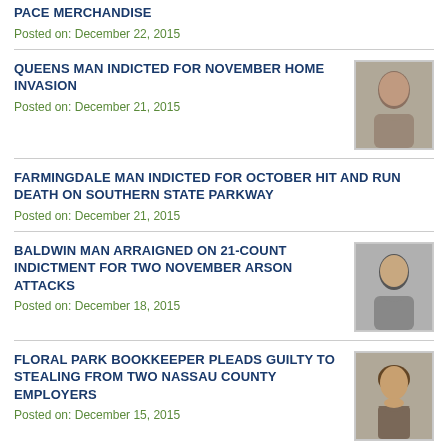PACE MERCHANDISE
Posted on: December 22, 2015
QUEENS MAN INDICTED FOR NOVEMBER HOME INVASION
Posted on: December 21, 2015
[Figure (photo): Mugshot of male suspect]
FARMINGDALE MAN INDICTED FOR OCTOBER HIT AND RUN DEATH ON SOUTHERN STATE PARKWAY
Posted on: December 21, 2015
BALDWIN MAN ARRAIGNED ON 21-COUNT INDICTMENT FOR TWO NOVEMBER ARSON ATTACKS
Posted on: December 18, 2015
[Figure (photo): Mugshot of male suspect]
FLORAL PARK BOOKKEEPER PLEADS GUILTY TO STEALING FROM TWO NASSAU COUNTY EMPLOYERS
Posted on: December 15, 2015
[Figure (photo): Mugshot of female suspect]